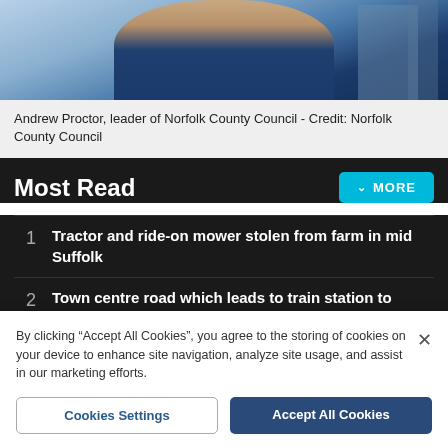[Figure (photo): Partial photo of Andrew Proctor, leader of Norfolk County Council, wearing a blue suit and light blue shirt, with a building visible in the background.]
Andrew Proctor, leader of Norfolk County Council - Credit: Norfolk County Council
Most Read
1 Tractor and ride-on mower stolen from farm in mid Suffolk
2 Town centre road which leads to train station to close over three months
By clicking "Accept All Cookies", you agree to the storing of cookies on your device to enhance site navigation, analyze site usage, and assist in our marketing efforts.